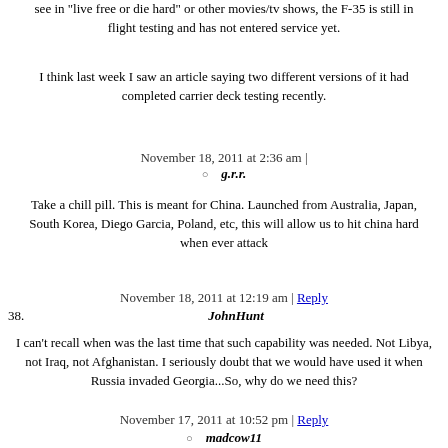see in "live free or die hard" or other movies/tv shows, the F-35 is still in flight testing and has not entered service yet.
I think last week I saw an article saying two different versions of it had completed carrier deck testing recently.
November 18, 2011 at 2:36 am |
g.r.r.
Take a chill pill. This is meant for China. Launched from Australia, Japan, South Korea, Diego Garcia, Poland, etc, this will allow us to hit china hard when ever attack
November 18, 2011 at 12:19 am | Reply
38. JohnHunt
I can't recall when was the last time that such capability was needed. Not Libya, not Iraq, not Afghanistan. I seriously doubt that we would have used it when Russia invaded Georgia...So, why do we need this?
November 17, 2011 at 10:52 pm | Reply
madcow11